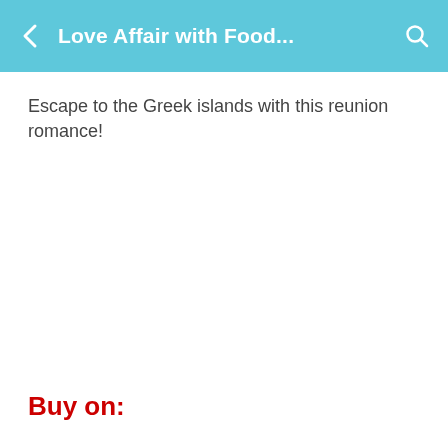Love Affair with Food...
Escape to the Greek islands with this reunion romance!
Buy on: